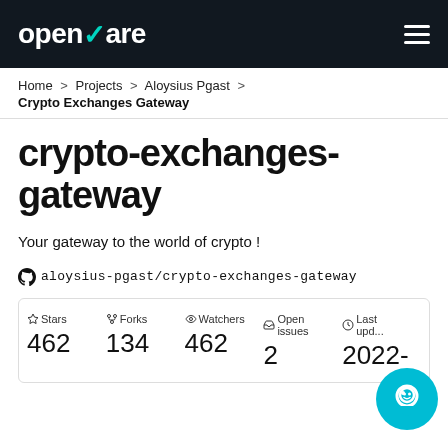openware (hamburger menu icon)
Home > Projects > Aloysius Pgast > Crypto Exchanges Gateway
crypto-exchanges-gateway
Your gateway to the world of crypto !
aloysius-pgast/crypto-exchanges-gateway
| Stars | Forks | Watchers | Open issues | Last upd... |
| --- | --- | --- | --- | --- |
| 462 | 134 | 462 | 2 | 2022- |